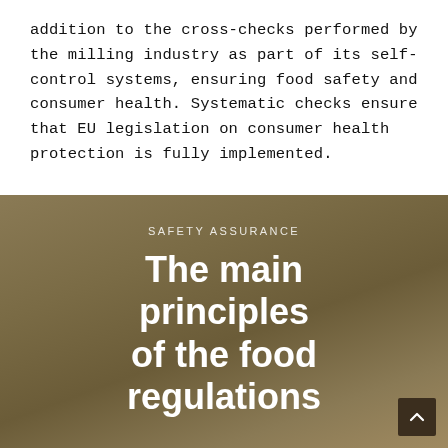addition to the cross-checks performed by the milling industry as part of its self-control systems, ensuring food safety and consumer health. Systematic checks ensure that EU legislation on consumer health protection is fully implemented.
SAFETY ASSURANCE
The main principles of the food regulations